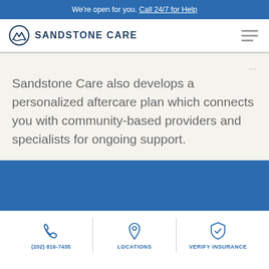We're open for you. Call 24/7 for Help
[Figure (logo): Sandstone Care logo with circular mountain icon and text SANDSTONE CARE]
Sandstone Care also develops a personalized aftercare plan which connects you with community-based providers and specialists for ongoing support.
(202) 816-7435 | LOCATIONS | VERIFY INSURANCE